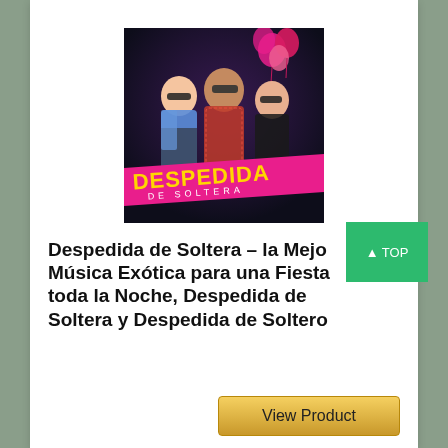[Figure (illustration): Album cover for 'Despedida de Soltera' showing three people celebrating with pink balloons, with a pink diagonal banner reading 'DESPEDIDA DE SOLTERA' in yellow and white text]
Despedida de Soltera – la Mejor Música Exótica para una Fiesta toda la Noche, Despedida de Soltera y Despedida de Soltero
View Product